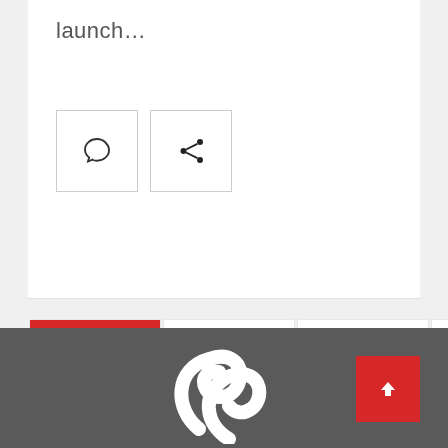launch…
[Figure (screenshot): Two icon buttons: comment bubble and share icon, each in a square bordered box]
[Figure (other): Pagination navigation with pages: 1 (active/red), 2, 3, 4, 5, ..., 10 on first row; 20, ..., », LAST » on second row]
[Figure (other): Dark gray footer area with a white swirl logo at center bottom and a red back-to-top arrow button at bottom right]